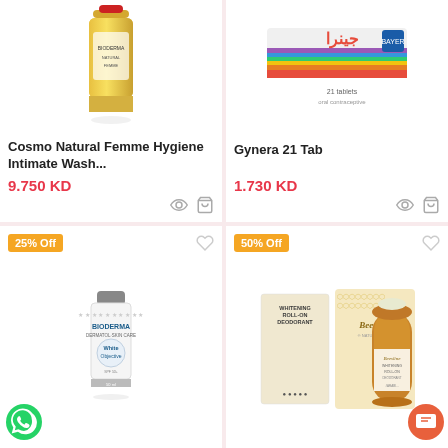[Figure (photo): Cosmo Natural Femme Hygiene Intimate Wash product bottle, yellow/gold color]
Cosmo Natural Femme Hygiene Intimate Wash...
9.750 KD
[Figure (photo): Gynera 21 Tab product box with rainbow stripes and Arabic text]
Gynera 21 Tab
1.730 KD
[Figure (photo): Bioderma White Objective cream tube, 50ml, with 25% Off badge]
[Figure (photo): Beesline Whitening Roll-On Deodorant product box and bottle, with 50% Off badge]